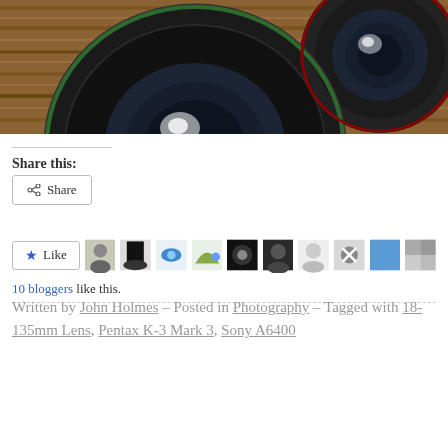[Figure (photo): Two camera lenses photographed from above on a wooden striped surface. The lenses are black with circular glass elements visible.]
Share this:
Share
[Figure (infographic): Like button with star icon followed by a row of 10 blogger avatar thumbnails]
10 bloggers like this.
Written by John Holmes – Posted in Photography – Tagged with 18-135mm Lens, Pentax K-3 Mark 3, Sony A6400